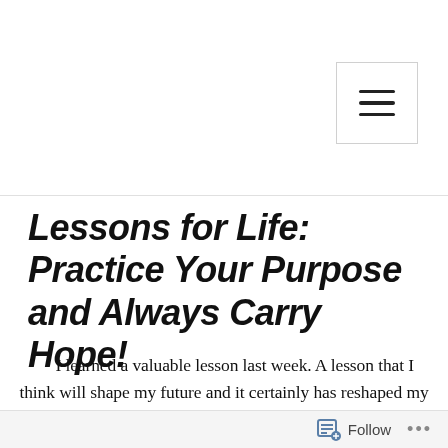Lessons for Life: Practice Your Purpose and Always Carry Hope!
I learned a valuable lesson last week. A lesson that I think will shape my future and it certainly has reshaped my mindset! People always equate discovering God’s purpose for our lives with some miraculous and divine revelation from Heaven. I was one of those people until I realized that discovering our purpose is actually found in the subtle clues given to us by the Father. You see, we’re
Follow ...